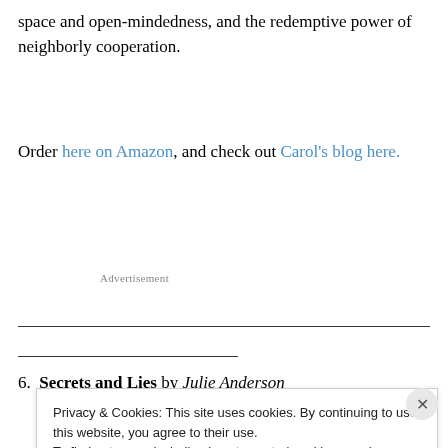space and open-mindedness, and the redemptive power of neighborly cooperation.
Order here on Amazon, and check out Carol’s blog here.
Advertisement
6. Secrets and Lies by Julie Anderson
Privacy & Cookies: This site uses cookies. By continuing to use this website, you agree to their use.
To find out more, including how to control cookies, see here: Cookie Policy
Close and accept